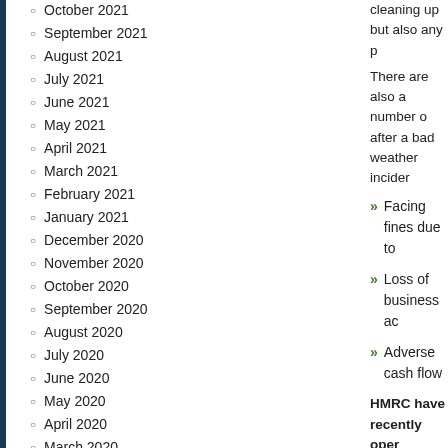October 2021
September 2021
August 2021
July 2021
June 2021
May 2021
April 2021
March 2021
February 2021
January 2021
December 2020
November 2020
October 2020
September 2020
August 2020
July 2020
June 2020
May 2020
April 2020
March 2020
February 2020
January 2020
December 2019
November 2019
October 2019
cleaning up but also any p
There are also a number o after a bad weather incider
Facing fines due to
Loss of business ac
Adverse cash flow
HMRC have recently oper
The helpline is 0800 904 7
The line will not be open b
This entry was posted o responses to this entry t